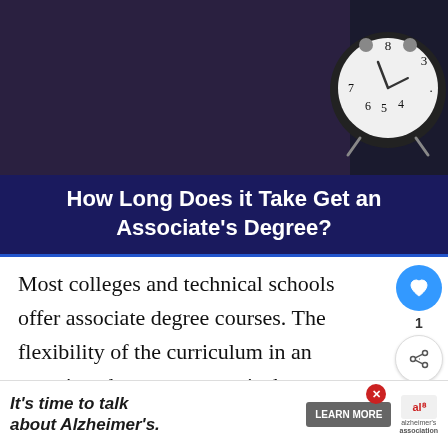[Figure (photo): Dark background photo with a white alarm clock showing numbers 3,4,5,6,7,8 on its face, placed on a dark surface]
How Long Does it Take Get an Associate's Degree?
Most colleges and technical schools offer associate degree courses. The flexibility of the curriculum in an associate degree program is the most distinctive feature of such courses. The time taken to complete such courses is determined.
[Figure (infographic): What's Next panel showing a circular thumbnail and text 'How Long After...']
[Figure (infographic): Advertisement banner: It's time to talk about Alzheimer's. LEARN MORE. Alzheimer's Association logo.]